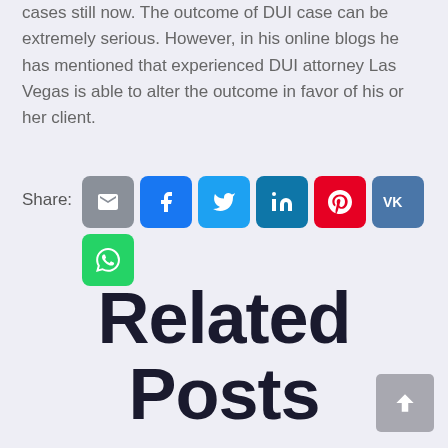cases still now. The outcome of DUI case can be extremely serious. However, in his online blogs he has mentioned that experienced DUI attorney Las Vegas is able to alter the outcome in favor of his or her client.
[Figure (infographic): Share buttons row: Email (gray), Facebook (blue), Twitter (light blue), LinkedIn (teal), Pinterest (red), VK (dark blue); second row: WhatsApp (green)]
Related Posts